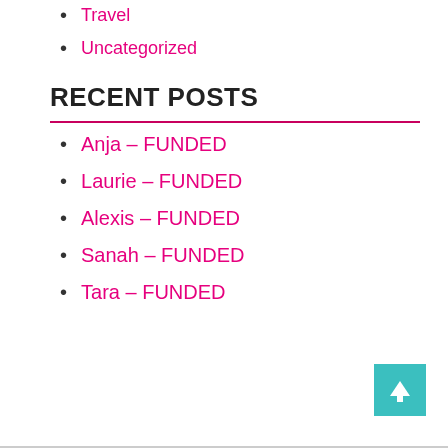Travel
Uncategorized
RECENT POSTS
Anja – FUNDED
Laurie – FUNDED
Alexis – FUNDED
Sanah – FUNDED
Tara – FUNDED